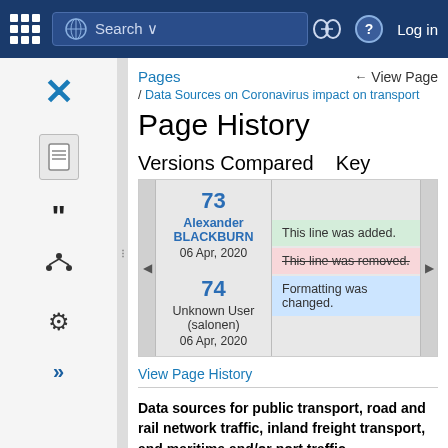Search | Log in
Pages | View Page
/ Data Sources on Coronavirus impact on transport
Page History
Versions Compared   Key
| Version | User | Date |
| --- | --- | --- |
| 73 | Alexander BLACKBURN | 06 Apr, 2020 |
| 74 | Unknown User (salonen) | 06 Apr, 2020 |
This line was added. | This line was removed. | Formatting was changed.
View Page History
Data sources for public transport, road and rail network traffic, inland freight transport, and maritime and/or port traffic